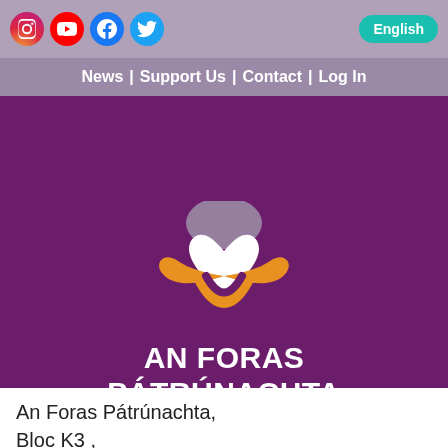Social icons: Instagram, YouTube, Facebook, Twitter | English button | Navigation: News | Support Us | Contact | Log In
[Figure (logo): An Foras Pátrúnachta logo: stylized bird/book shape in orange and purple with a white heart, on purple background]
AN FORAS PÁTRÚNACHTA
Irish-Language Patron for Irish-Language Schools
An Foras Pátrúnachta,
Bloc K3 ,